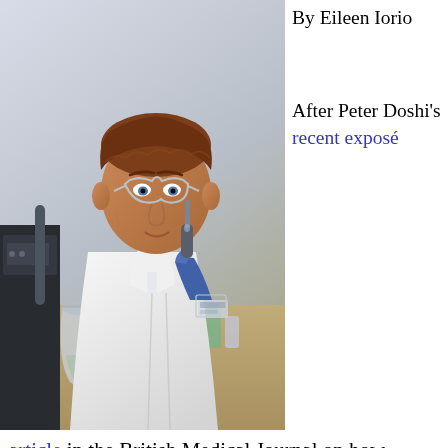[Figure (photo): A scientist or researcher in a white lab coat and blue gloves, working with laboratory equipment and pipettes in a lab setting. He is wearing safety glasses and appears to be pipetting samples.]
By Eileen Iorio

After Peter Doshi's recent exposé article in the British Medical Journal on how government agencies and vaccine manufacturers use grass roots organizations to push their vaccine agenda, I took a closer look at an upcoming decision about to be made in the UK by the Joint Committee on Vaccination and Immunization on whether boys should be vaccinated with the HPV vaccine. A decision is expected next week after the same Committee voted against such